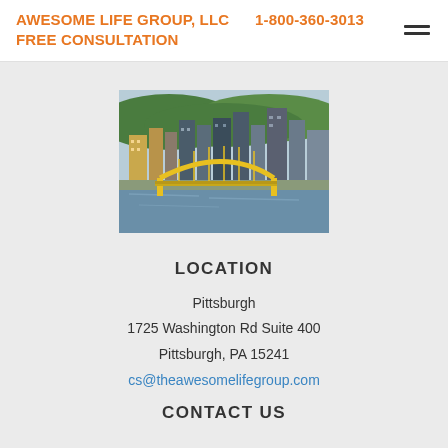AWESOME LIFE GROUP, LLC   1-800-360-3013   FREE CONSULTATION
[Figure (photo): Aerial photo of Pittsburgh skyline with yellow arch bridge (Fort Pitt Bridge) over a river, green hills in background, city skyscrapers visible.]
LOCATION
Pittsburgh
1725 Washington Rd Suite 400
Pittsburgh, PA 15241
cs@theawesomelifegroup.com
CONTACT US